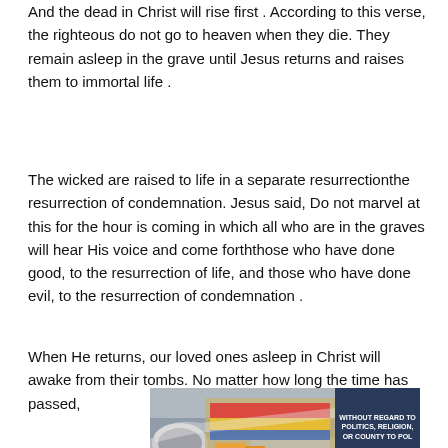And the dead in Christ will rise first . According to this verse, the righteous do not go to heaven when they die. They remain asleep in the grave until Jesus returns and raises them to immortal life .
The wicked are raised to life in a separate resurrectionthe resurrection of condemnation. Jesus said, Do not marvel at this for the hour is coming in which all who are in the graves will hear His voice and come forththose who have done good, to the resurrection of life, and those who have done evil, to the resurrection of condemnation .
When He returns, our loved ones asleep in Christ will awake from their tombs. No matter how long the time has passed,
[Figure (photo): Advertisement banner showing an airplane being loaded with cargo at an airport. A Southwest Airlines or similar aircraft is visible. On the right side is a dark blue box with text reading WITHOUT REGARD TO POLITICS, RELIGION, OR COUNTY TO POL.]